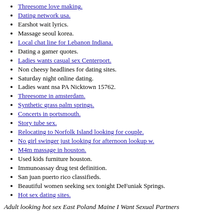Threesome love making.
Dating network usa.
Earshot wait lyrics.
Massage seoul korea.
Local chat line for Lebanon Indiana.
Dating a gamer quotes.
Ladies wants casual sex Centerport.
Non cheesy headlines for dating sites.
Saturday night online dating.
Ladies want nsa PA Nicktown 15762.
Threesome in amsterdam.
Synthetic grass palm springs.
Concerts in portsmouth.
Story tube sex.
Relocating to Norfolk Island looking for couple.
No girl swinger just looking for afternoon lookup w.
M4m massage in houston.
Used kids furniture houston.
Immunoassay drug test definition.
San juan puerto rico classifieds.
Beautiful women seeking sex tonight DeFuniak Springs.
Hot sex dating sites.
Adult looking hot sex East Poland Maine I Want Sexual Partners